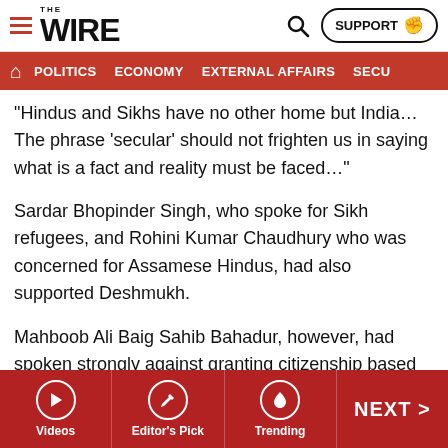THE WIRE — SUPPORT
POLITICS | ECONOMY | EXTERNAL AFFAIRS | SECU...
“Hindus and Sikhs have no other home but India… The phrase ‘secular’ should not frighten us in saying what is a fact and reality must be faced…”
Sardar Bhopinder Singh, who spoke for Sikh refugees, and Rohini Kumar Chaudhury who was concerned for Assamese Hindus, had also supported Deshmukh.
Mahboob Ali Baig Sahib Bahadur, however, had spoken strongly against granting citizenship based on religion, and encouraged the assembly to remind itself of the Mahatma’s teachings of oneness in religion.
Videos | Editor's Pick | Trending | NEXT >